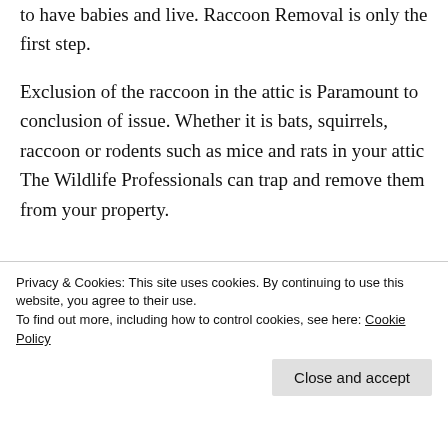to have babies and live. Raccoon Removal is only the first step.
Exclusion of the raccoon in the attic is Paramount to conclusion of issue. Whether it is bats, squirrels, raccoon or rodents such as mice and rats in your attic The Wildlife Professionals can trap and remove them from your property.
Privacy & Cookies: This site uses cookies. By continuing to use this website, you agree to their use.
To find out more, including how to control cookies, see here: Cookie Policy
Close and accept